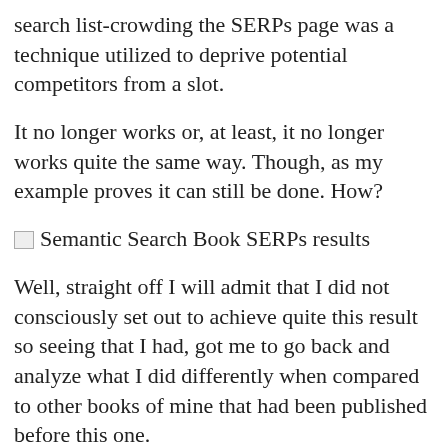search list-crowding the SERPs page was a technique utilized to deprive potential competitors from a slot.
It no longer works or, at least, it no longer works quite the same way. Though, as my example proves it can still be done. How?
[Figure (screenshot): Broken image placeholder with alt text: Semantic Search Book SERPs results]
Well, straight off I will admit that I did not consciously set out to achieve quite this result so seeing that I had, got me to go back and analyze what I did differently when compared to other books of mine that had been published before this one.